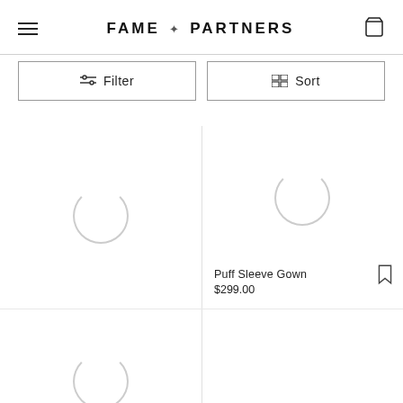FAME & PARTNERS
Filter
Sort
[Figure (screenshot): Loading spinner circle for product image (right column, top row)]
Puff Sleeve Gown
$299.00
[Figure (screenshot): Loading spinner circle for product image (left column, bottom row)]
The Venice Dress